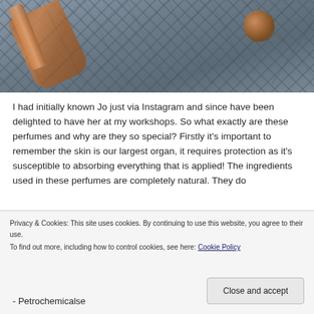[Figure (photo): Photo of beauty/cosmetic items including brushes and wooden balls on a grey textured fabric/mat with geometric diamond pattern]
I had initially known Jo just via Instagram and since have been delighted to have her at my workshops. So what exactly are these perfumes and why are they so special? Firstly it's important to remember the skin is our largest organ, it requires protection as it's susceptible to absorbing everything that is applied! The ingredients used in these perfumes are completely natural. They do
Privacy & Cookies: This site uses cookies. By continuing to use this website, you agree to their use.
To find out more, including how to control cookies, see here: Cookie Policy
Close and accept
Petrochemicalse